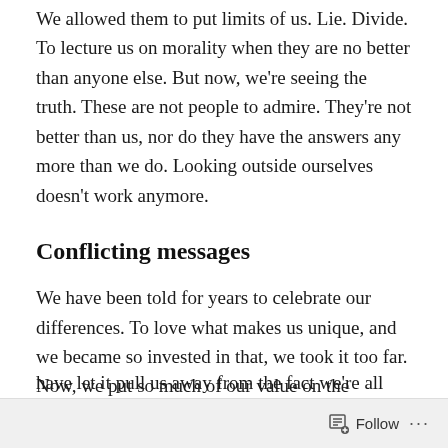We allowed them to put limits of us. Lie. Divide. To lecture us on morality when they are no better than anyone else. But now, we're seeing the truth. These are not people to admire. They're not better than us, nor do they have the answers any more than we do. Looking outside ourselves doesn't work anymore.
Conflicting messages
We have been told for years to celebrate our differences. To love what makes us unique, and we became so invested in that, we took it too far. Now, we put so much of our value on the superficial things like color, age, sex, etc. Overall, we've allowed it to define us so much so that we have let it pull us away from the fact we're all one. We're